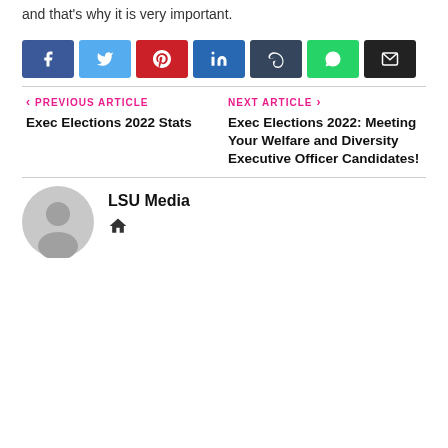and that's why it is very important.
[Figure (infographic): Row of social media share buttons: Facebook (blue), Twitter (light blue), Pinterest (red), LinkedIn (dark blue), Tumblr (dark grey-blue), WhatsApp (green), Email (black)]
PREVIOUS ARTICLE
Exec Elections 2022 Stats
NEXT ARTICLE
Exec Elections 2022: Meeting Your Welfare and Diversity Executive Officer Candidates!
LSU Media